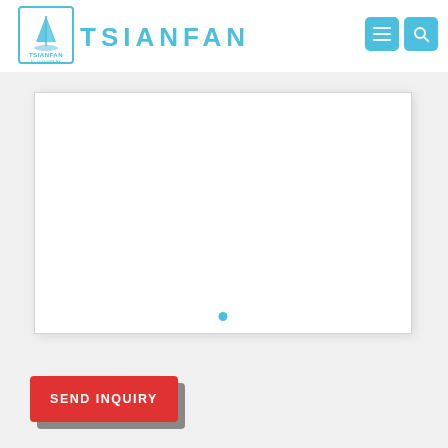[Figure (logo): TSIANFAN DISPLAY company logo with sailboat icon and brand name in light blue]
[Figure (photo): Large white product image area with a single blue dot indicator at the bottom center]
SEND INQUIRY